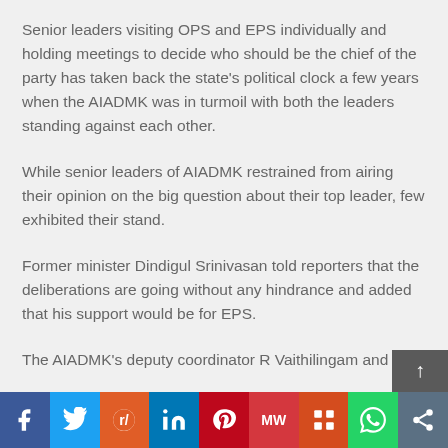Senior leaders visiting OPS and EPS individually and holding meetings to decide who should be the chief of the party has taken back the state’s political clock a few years when the AIADMK was in turmoil with both the leaders standing against each other.
While senior leaders of AIADMK restrained from airing their opinion on the big question about their top leader, few exhibited their stand.
Former minister Dindigul Srinivasan told reporters that the deliberations are going without any hindrance and added that his support would be for EPS.
The AIADMK’s deputy coordinator R Vaithilingam and JCD